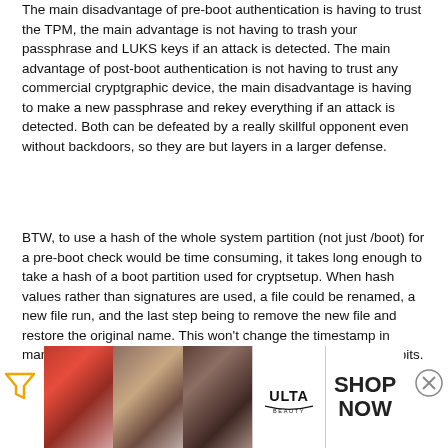The main disadvantage of pre-boot authentication is having to trust the TPM, the main advantage is not having to trash your passphrase and LUKS keys if an attack is detected. The main advantage of post-boot authentication is not having to trust any commercial cryptgraphic device, the main disadvantage is having to make a new passphrase and rekey everything if an attack is detected. Both can be defeated by a really skillful opponent even without backdoors, so they are but layers in a larger defense.
BTW, to use a hash of the whole system partition (not just /boot) for a pre-boot check would be time consuming, it takes long enough to take a hash of a boot partition used for cryptsetup. When hash values rather than signatures are used, a file could be renamed, a new file run, and the last step being to remove the new file and restore the original name. This won't change the timestamp in many cases, but will change the partition hash due to changed bits.
[Figure (photo): Ulta Beauty advertisement banner with makeup photos (lips, brush, eye), Ulta logo, and SHOP NOW call to action]